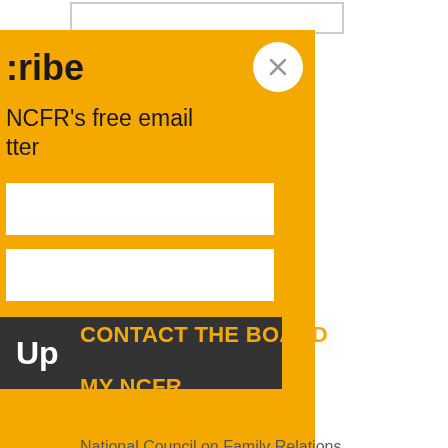[Figure (screenshot): Partially visible top rectangle/input box outline on white background]
...cribe
NCFR's free email ...tter
[Figure (screenshot): Two white input fields on orange background for email subscription form]
...Up (Sign Up button)
CONTACT THE BOARD
MY NCFR
RETURNS POLICY
National Council on Family Relations